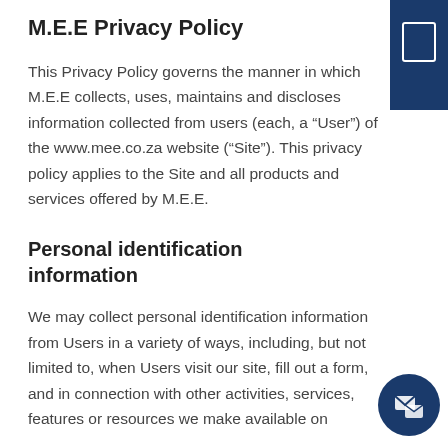M.E.E Privacy Policy
This Privacy Policy governs the manner in which M.E.E collects, uses, maintains and discloses information collected from users (each, a “User”) of the www.mee.co.za website (“Site”). This privacy policy applies to the Site and all products and services offered by M.E.E.
Personal identification information
We may collect personal identification information from Users in a variety of ways, including, but not limited to, when Users visit our site, fill out a form, and in connection with other activities, services, features or resources we make available on